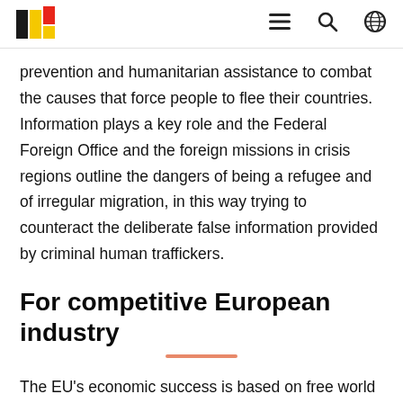[Belgian Federal Government logo] [hamburger menu] [search] [globe]
prevention and humanitarian assistance to combat the causes that force people to flee their countries. Information plays a key role and the Federal Foreign Office and the foreign missions in crisis regions outline the dangers of being a refugee and of irregular migration, in this way trying to counteract the deliberate false information provided by criminal human traffickers.
For competitive European industry
The EU’s economic success is based on free world